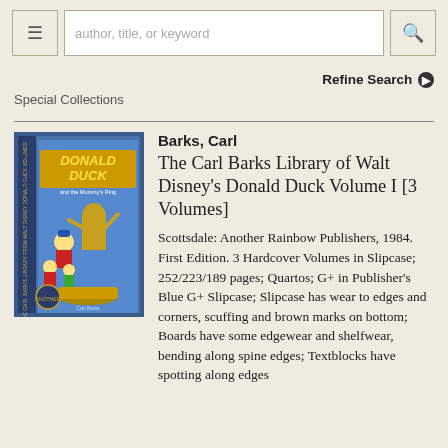author, title, or keyword [search bar with menu and search buttons]
Refine Search
Special Collections
[Figure (photo): Book cover photo of The Carl Barks Library of Walt Disney's Donald Duck Volume I, a blue slipcase set showing Donald Duck and Mummy characters on the cover]
Barks, Carl
The Carl Barks Library of Walt Disney's Donald Duck Volume I [3 Volumes]
Scottsdale: Another Rainbow Publishers, 1984. First Edition. 3 Hardcover Volumes in Slipcase; 252/223/189 pages; Quartos; G+ in Publisher's Blue G+ Slipcase; Slipcase has wear to edges and corners, scuffing and brown marks on bottom; Boards have some edgewear and shelfwear, bending along spine edges; Textblocks have spotting along edges